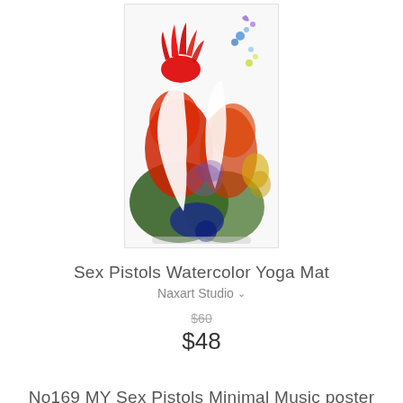[Figure (illustration): Watercolor-style yoga mat product image showing two punk rock figures with red spiky hair against a white background, with colorful watercolor splashes in red, green, blue, and yellow tones.]
Sex Pistols Watercolor Yoga Mat
Naxart Studio ∨
$60
$48
No169 MY Sex Pistols Minimal Music poster Yoga Mat